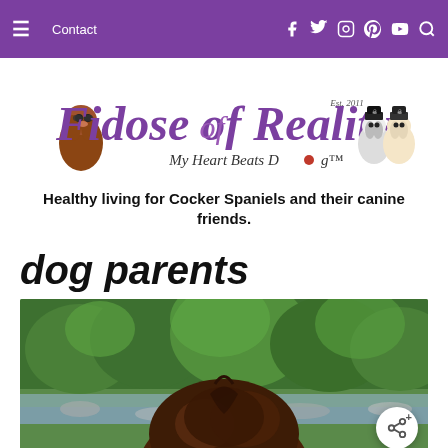≡  Contact  [Facebook] [Twitter] [Instagram] [Pinterest] [YouTube] [Search]
[Figure (logo): Fidose of Reality logo with dog illustrations, Est 2011, My Heart Beats Dog tagline]
Healthy living for Cocker Spaniels and their canine friends.
dog parents
[Figure (photo): Close-up of a brown/chocolate colored dog's head from above, with green trees and water visible in the background. A share button with a share icon and plus sign is visible in the bottom right corner.]